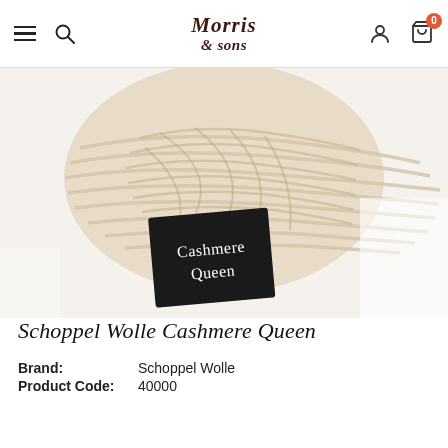Morris & Sons — navigation bar with hamburger menu, search, logo, account, and cart (0 items)
[Figure (photo): A ball of cream/off-white yarn (Schoppel Wolle Cashmere Queen) with a black rectangular label reading 'Cashmere Queen' in white text, photographed on a white background.]
Schoppel Wolle Cashmere Queen
Brand: Schoppel Wolle
Product Code: 40000